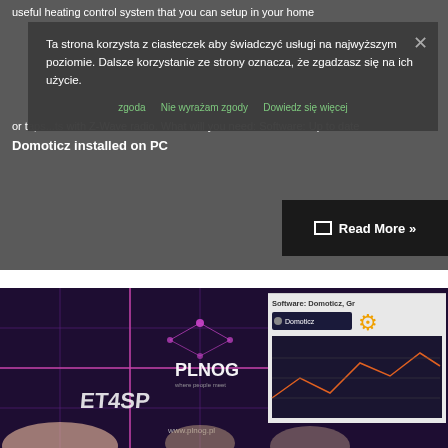useful heating control system that you can setup in your home or tap...ts with Z-Wave radio. What will you need: Software: Up to date Domoticz installed on PC
Ta strona korzysta z ciasteczek aby świadczyć usługi na najwyższym poziomie. Dalsze korzystanie ze strony oznacza, że zgadzasz się na ich użycie.
[links row: zgoda | Nie wyrażam zgody | Dowiedz się więcej]
Read More »
AUTOMATION
DANFOSS
DOMOTICZ
GRZANIE
GRZEJNIK
HEATING
KALORYFER
LIVING CONNECT
PODZIELNIK CIEPŁA
RADIATOR
Z-WAVE
[Figure (photo): Conference photo showing a speaker at PLNOG event with a presentation screen showing 'Software: Domoticz, Gr...' and the PLNOG logo and ET4SP branding visible. Audience visible in foreground.]